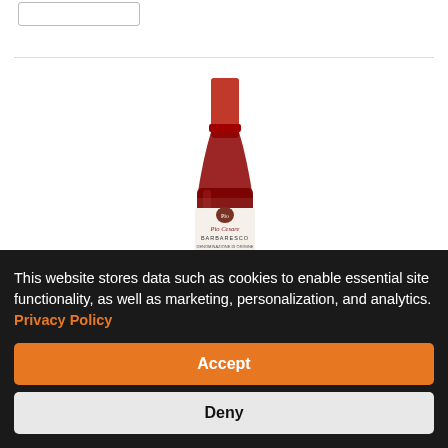[Figure (photo): Top portion of a red wine bottle (Barbaresco) with a red foil capsule and a label reading 'Pio Cesare Barbaresco', visible from neck to just below the label, on a white background.]
This website stores data such as cookies to enable essential site functionality, as well as marketing, personalization, and analytics. Privacy Policy
Accept
Deny